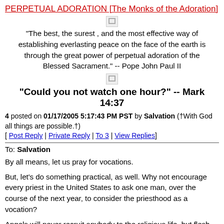PERPETUAL ADORATION [The Monks of the Adoration]
[Figure (illustration): Broken image icon (small image placeholder with torn corner)]
"The best, the surest , and the most effective way of establishing everlasting peace on the face of the earth is through the great power of perpetual adoration of the Blessed Sacrament." -- Pope John Paul II
[Figure (illustration): Broken image icon (small image placeholder with torn corner)]
"Could you not watch one hour?" -- Mark 14:37
4 posted on 01/17/2005 5:17:43 PM PST by Salvation (†With God all things are possible.†)
[ Post Reply | Private Reply | To 3 | View Replies]
To: Salvation
By all means, let us pray for vocations.
But, let's do something practical, as well. Why not encourage every priest in the United States to ask one man, over the course of the next year, to consider the priesthood as a vocation?
Angels will never recruit anybody to the religious life, but flesh and blood human beings will.